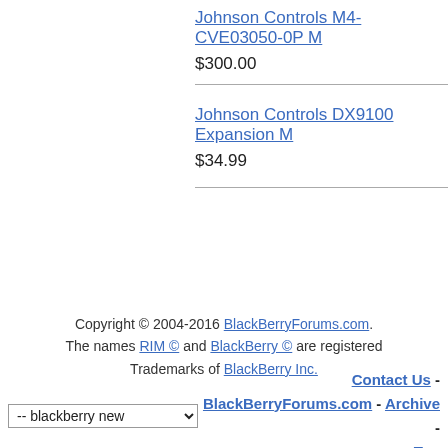Johnson Controls M4-CVE03050-0P M
$300.00
Johnson Controls DX9100 Expansion M
$34.99
Copyright © 2004-2016 BlackBerryForums.com. The names RIM © and BlackBerry © are registered Trademarks of BlackBerry Inc.
Contact Us - BlackBerryForums.com - Archive - Top